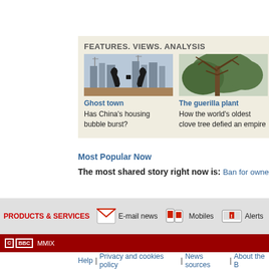FEATURES, VIEWS, ANALYSIS
[Figure (photo): Horse sculptures silhouetted against a city skyline with cranes]
Ghost town
Has China's housing bubble burst?
[Figure (photo): Old gnarled tree with bare branches against a light sky]
The guerilla plant
How the world's oldest clove tree defied an empire
Most Popular Now
The most shared story right now is: Ban for owner of bust o...
PRODUCTS & SERVICES   E-mail news   Mobiles   Alerts
© BBC MMIX
Help | Privacy and cookies policy | News sources | About the B...